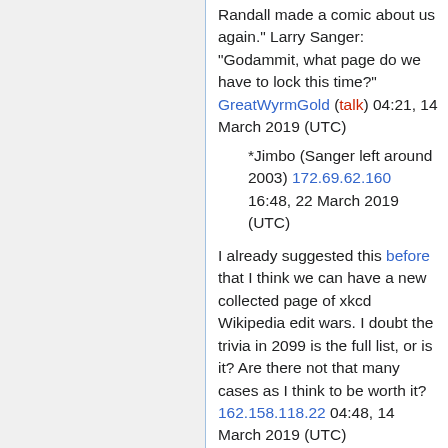Randall made a comic about us again." Larry Sanger: "Godammit, what page do we have to lock this time?" GreatWyrmGold (talk) 04:21, 14 March 2019 (UTC)
*Jimbo (Sanger left around 2003) 172.69.62.160 16:48, 22 March 2019 (UTC)
I already suggested this before that I think we can have a new collected page of xkcd Wikipedia edit wars. I doubt the trivia in 2099 is the full list, or is it? Are there not that many cases as I think to be worth it? 162.158.118.22 04:48, 14 March 2019 (UTC)